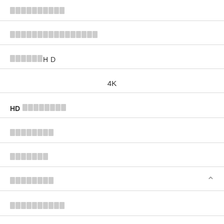██████████
████████████████
██████HD
4K
HD ████████
████████
███████
████████
██████████